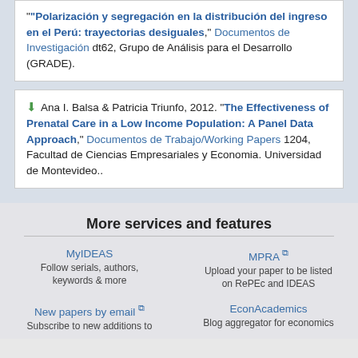"Polarización y segregación en la distribución del ingreso en el Perú: trayectorias desiguales," Documentos de Investigación dt62, Grupo de Análisis para el Desarrollo (GRADE).
Ana I. Balsa & Patricia Triunfo, 2012. "The Effectiveness of Prenatal Care in a Low Income Population: A Panel Data Approach," Documentos de Trabajo/Working Papers 1204, Facultad de Ciencias Empresariales y Economia. Universidad de Montevideo..
More services and features
MyIDEAS
Follow serials, authors, keywords & more
MPRA
Upload your paper to be listed on RePEc and IDEAS
New papers by email
Subscribe to new additions to
EconAcademics
Blog aggregator for economics